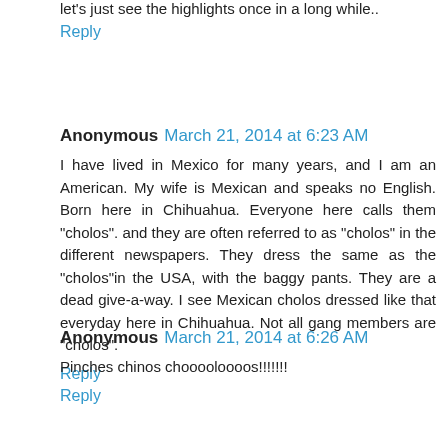let's just see the highlights once in a long while..
Reply
Anonymous March 21, 2014 at 6:23 AM
I have lived in Mexico for many years, and I am an American. My wife is Mexican and speaks no English. Born here in Chihuahua. Everyone here calls them "cholos". and they are often referred to as "cholos" in the different newspapers. They dress the same as the "cholos"in the USA, with the baggy pants. They are a dead give-a-way. I see Mexican cholos dressed like that everyday here in Chihuahua. Not all gang members are "cholos".
Reply
Anonymous March 21, 2014 at 6:26 AM
Pinches chinos chooooloooos!!!!!!!
Reply